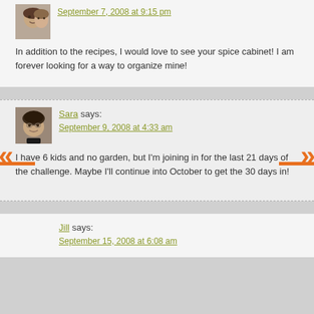September 7, 2008 at 9:15 pm
In addition to the recipes, I would love to see your spice cabinet! I am forever looking for a way to organize mine!
Sara says:
September 9, 2008 at 4:33 am
I have 6 kids and no garden, but I'm joining in for the last 21 days of the challenge. Maybe I'll continue into October to get the 30 days in!
Jill says:
September 15, 2008 at 6:08 am